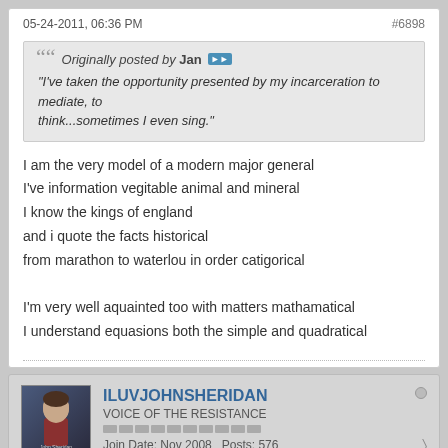05-24-2011, 06:36 PM
#6898
Originally posted by Jan
"I've taken the opportunity presented by my incarceration to mediate, to think...sometimes I even sing."
I am the very model of a modern major general
I've information vegitable animal and mineral
I know the kings of england
and i quote the facts historical
from marathon to waterlou in order catigorical

I'm very well aquainted too with matters mathamatical
I understand equasions both the simple and quadratical
ILUVJOHNSHERIDAN
VOICE OF THE RESISTANCE
Join Date: Nov 2008  Posts: 576
05-24-2011, 07:20 PM
#6899